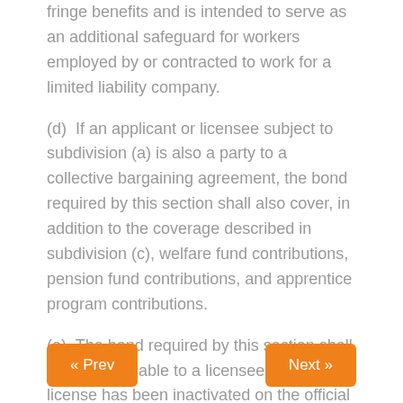fringe benefits and is intended to serve as an additional safeguard for workers employed by or contracted to work for a limited liability company.
(d)  If an applicant or licensee subject to subdivision (a) is also a party to a collective bargaining agreement, the bond required by this section shall also cover, in addition to the coverage described in subdivision (c), welfare fund contributions, pension fund contributions, and apprentice program contributions.
(e)  The bond required by this section shall not be applicable to a licensee whose license has been inactivated on the official records of the board during the period the license is inactive.